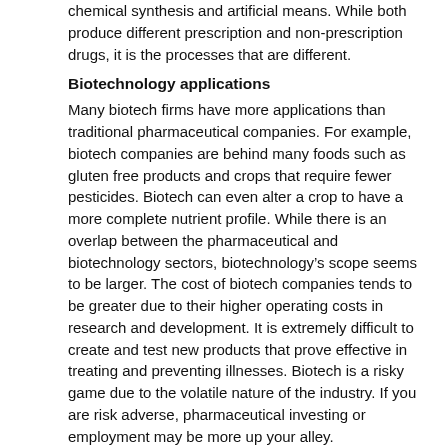chemical synthesis and artificial means. While both produce different prescription and non-prescription drugs, it is the processes that are different.
Biotechnology applications
Many biotech firms have more applications than traditional pharmaceutical companies. For example, biotech companies are behind many foods such as gluten free products and crops that require fewer pesticides. Biotech can even alter a crop to have a more complete nutrient profile. While there is an overlap between the pharmaceutical and biotechnology sectors, biotechnology's scope seems to be larger. The cost of biotech companies tends to be greater due to their higher operating costs in research and development. It is extremely difficult to create and test new products that prove effective in treating and preventing illnesses. Biotech is a risky game due to the volatile nature of the industry. If you are risk adverse, pharmaceutical investing or employment may be more up your alley.
Biotech consulting
If you are looking to be a part of a budding biotech company, there are a few things you want to take into account. Many biotech companies are start-ups that get a majority of their funding from venture capitalists, angel investors and research grants. This gives employees a chance to be part of something new and novel.